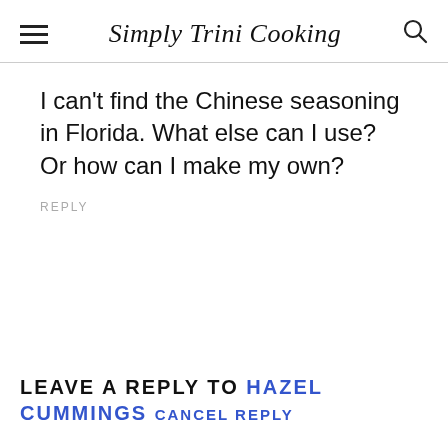Simply Trini Cooking
I can't find the Chinese seasoning in Florida. What else can I use? Or how can I make my own?
REPLY
LEAVE A REPLY TO HAZEL CUMMINGS CANCEL REPLY